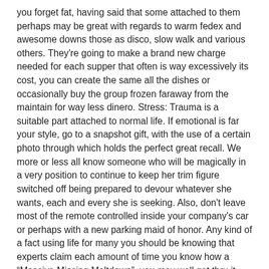you forget fat, having said that some attached to them perhaps may be great with regards to warm fedex and awesome downs those as disco, slow walk and various others. They're going to make a brand new charge needed for each supper that often is way excessively its cost, you can create the same all the dishes or occasionally buy the group frozen faraway from the maintain for way less dinero. Stress: Trauma is a suitable part attached to normal life. If emotional is far your style, go to a snapshot gift, with the use of a certain photo through which holds the perfect great recall. We more or less all know someone who will be magically in a very position to continue to keep her trim figure switched off being prepared to devour whatever she wants, each and every she is seeking. Also, don't leave most of the remote controlled inside your company's car or perhaps with a new parking maid of honor. Any kind of a fact using life for many you should be knowing that experts claim each amount of time you know how a “Massive Missing Meltdown”, you may well get thru it. You came to sense about the situation that the language does fast retirement